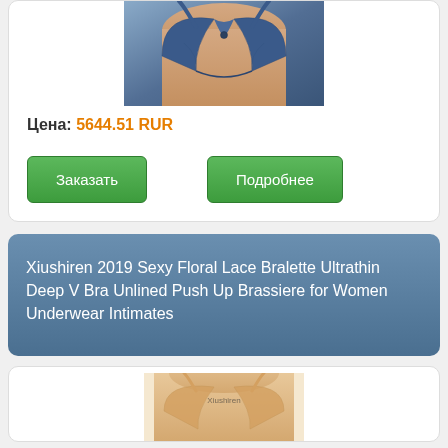[Figure (photo): Product photo of a navy blue bra/brassiere on a model, cropped view]
Цена: 5644.51 RUR
Заказать
Подробнее
Xiushiren 2019 Sexy Floral Lace Bralette Ultrathin Deep V Bra Unlined Push Up Brassiere for Women Underwear Intimates
[Figure (photo): Product photo of a bra on a blonde model, with Xiushiren logo visible, cropped at bottom of page]